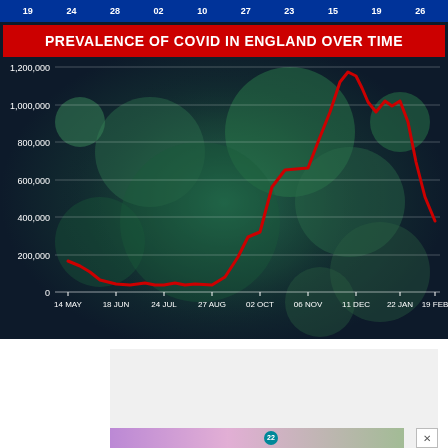19  24  28  02  10  27  23  15  19  26
[Figure (line-chart): PREVALENCE OF COVID IN ENGLAND OVER TIME]
[Figure (photo): Advertisement banner with purple and teal tones, number 22 shown]